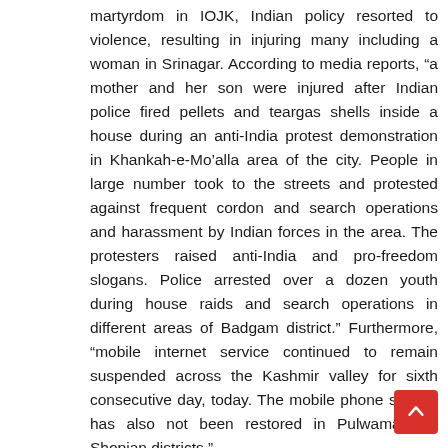martyrdom in IOJK, Indian policy resorted to violence, resulting in injuring many including a woman in Srinagar. According to media reports, “a mother and her son were injured after Indian police fired pellets and teargas shells inside a house during an anti-India protest demonstration in Khankah-e-Mo’alla area of the city. People in large number took to the streets and protested against frequent cordon and search operations and harassment by Indian forces in the area. The protesters raised anti-India and pro-freedom slogans. Police arrested over a dozen youth during house raids and search operations in different areas of Badgam district.” Furthermore, “mobile internet service continued to remain suspended across the Kashmir valley for sixth consecutive day, today. The mobile phone service has also not been restored in Pulwama and Shopian districts.”

While Corona Virus Disease (COVID-19) has become a
[Figure (other): Red scroll-to-top button with upward arrow icon, positioned at bottom right corner]